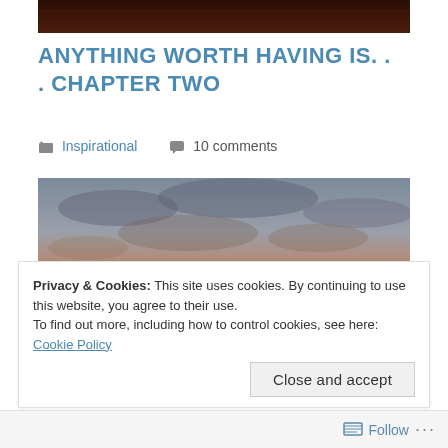[Figure (photo): Dark brown/wooden texture image strip at top of page]
ANYTHING WORTH HAVING IS. . . CHAPTER TWO
Inspirational   10 comments
[Figure (photo): Sunset photo showing dramatic orange and yellow sky with clouds]
Privacy & Cookies: This site uses cookies. By continuing to use this website, you agree to their use.
To find out more, including how to control cookies, see here: Cookie Policy
Close and accept
Follow